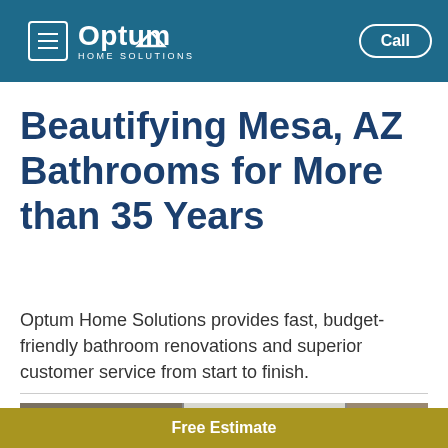Optum Home Solutions — Call
Beautifying Mesa, AZ Bathrooms for More than 35 Years
Optum Home Solutions provides fast, budget-friendly bathroom renovations and superior customer service from start to finish.
[Figure (photo): Horizontal photo strip showing bathroom interior scenes]
Free Estimate